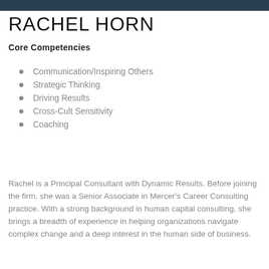[Figure (photo): Dark banner photo strip at top of page showing partial portrait images]
RACHEL HORN
Core Competencies
Communication/Inspiring Others
Strategic Thinking
Driving Results
Cross-Cult Sensitivity
Coaching
Rachel is a Principal Consultant with Dynamic Results. Before joining the firm, she was a Senior Associate in Mercer's Career Consulting practice. With a strong background in human capital consulting, she brings a breadth of experience in helping organizations navigate complex change and a deep interest in the human side of business.